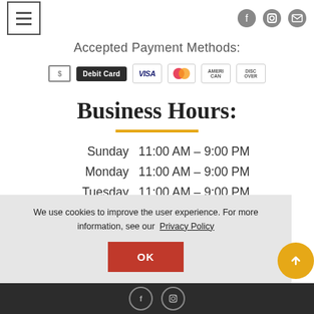[Figure (screenshot): Navigation menu hamburger button icon (three horizontal lines in a square border)]
[Figure (screenshot): Social media icons: Facebook circle, Instagram circle, and envelope/mail circle]
Accepted Payment Methods:
[Figure (infographic): Payment method icons: cash dollar bill, Debit Card (dark button), VISA, Mastercard, American Express, Discover]
Business Hours:
Sunday   11:00 AM – 9:00 PM
Monday   11:00 AM – 9:00 PM
Tuesday  11:00 AM – 9:00 PM
Wednesday 11:00 AM – 9:00 PM
We use cookies to improve the user experience. For more information, see our Privacy Policy
OK
[Figure (infographic): Footer social media icons: Facebook and Instagram in circles on dark background]